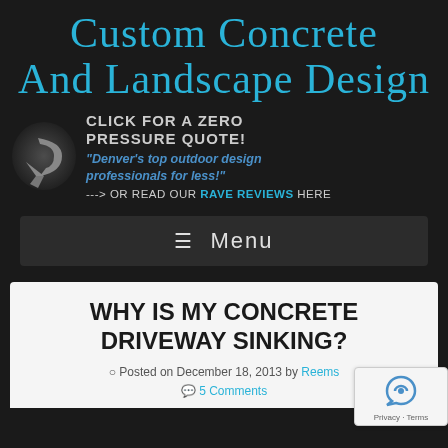Custom Concrete And Landscape Design
[Figure (logo): Arrow icon graphic and CTA text: CLICK FOR A ZERO PRESSURE QUOTE! with tagline and link to rave reviews]
☰ Menu
WHY IS MY CONCRETE DRIVEWAY SINKING?
Posted on December 18, 2013 by Reems
5 Comments